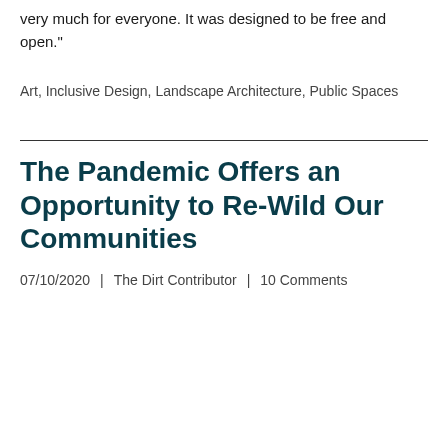very much for everyone. It was designed to be free and open.”
Art, Inclusive Design, Landscape Architecture, Public Spaces
The Pandemic Offers an Opportunity to Re-Wild Our Communities
07/10/2020  |   The Dirt Contributor   |   10 Comments